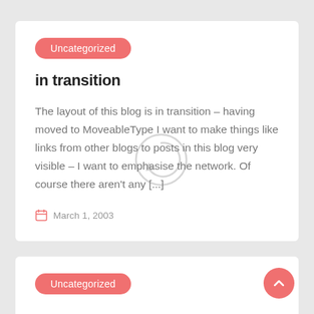Uncategorized
in transition
The layout of this blog is in transition – having moved to MoveableType I want to make things like links from other blogs to posts in this blog very visible – I want to emphasise the network. Of course there aren't any [...]
March 1, 2003
Uncategorized